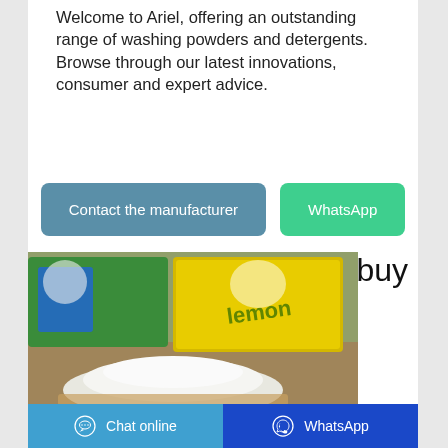Welcome to Ariel, offering an outstanding range of washing powders and detergents. Browse through our latest innovations, consumer and expert advice.
Contact the manufacturer | WhatsApp
buy
[Figure (photo): Photo of washing powder products including a pile of white powder in front of detergent boxes, one green/yellow lemon scented box visible.]
Chat online | WhatsApp